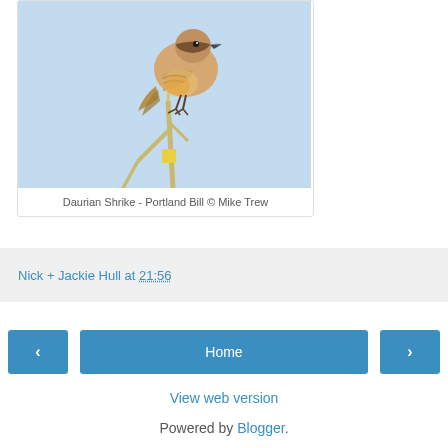[Figure (photo): A Daurian Shrike bird perched on a thin branch against a light blue sky background. The bird has orange-tan plumage with darker markings on its wings and face.]
Daurian Shrike - Portland Bill © Mike Trew
Nick + Jackie Hull at 21:56
‹
Home
›
View web version
Powered by Blogger.